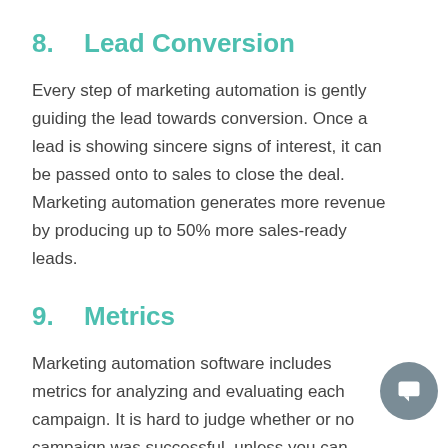8.   Lead Conversion
Every step of marketing automation is gently guiding the lead towards conversion. Once a lead is showing sincere signs of interest, it can be passed onto to sales to close the deal. Marketing automation generates more revenue by producing up to 50% more sales-ready leads.
9.   Metrics
Marketing automation software includes metrics for analyzing and evaluating each campaign. It is hard to judge whether or not a campaign was successful, unless you can physically see the results. This is the final and